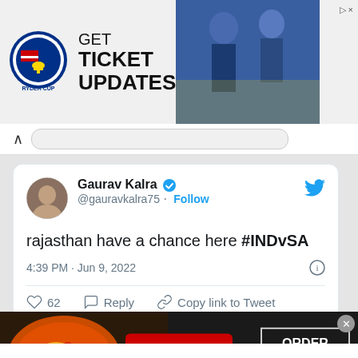[Figure (screenshot): Ryder Cup advertisement banner: logo on left, text 'GET TICKET UPDATES', golf players photo on right]
[Figure (screenshot): Tweet by Gaurav Kalra (@gauravkalra75): 'rajasthan have a chance here #INDvSA', posted 4:39 PM · Jun 9, 2022, 62 likes]
[Figure (screenshot): Seamless food delivery advertisement banner with ORDER NOW button]